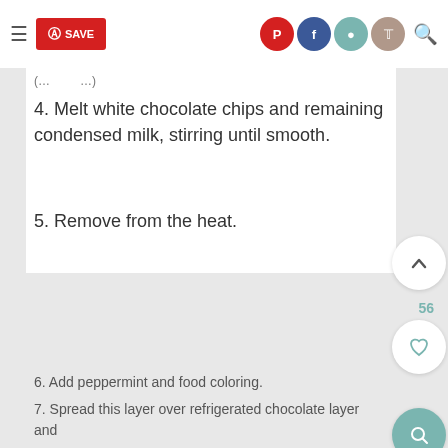SAVE (Pinterest, Facebook, Instagram, Twitter social icons)
4. Melt white chocolate chips and remaining condensed milk, stirring until smooth.
5. Remove from the heat.
6. Add peppermint and food coloring.
7. Spread this layer over refrigerated chocolate layer and